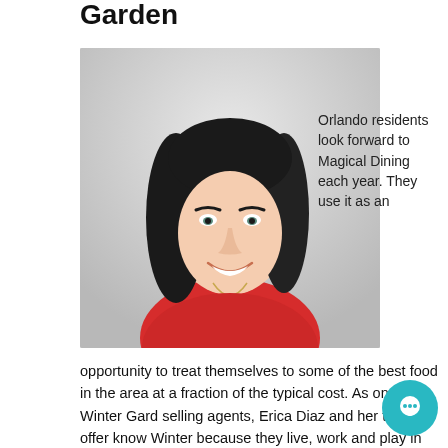Garden
[Figure (photo): Professional headshot of a smiling woman with long dark hair wearing a red sleeveless top and a necklace, photographed against a light gray background.]
Orlando residents look forward to Magical Dining each year. They use it as an
opportunity to treat themselves to some of the best food in the area at a fraction of the typical cost. As one of Winter Gard selling agents, Erica Diaz and her team offer know Winter because they live, work and play in Winter Garden. If you're interested in living in in this charming little town, their connections,